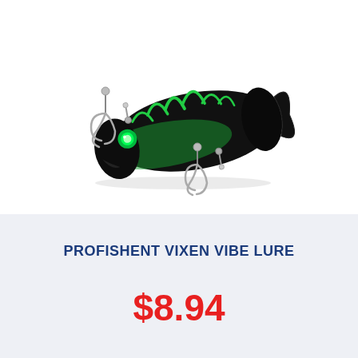[Figure (photo): A Profishent Vixen Vibe fishing lure. The lure body is black with bright green flame/stripe markings, has a glowing green eye, and features two silver treble hooks — one at the front-left and one at the bottom-center.]
PROFISHENT VIXEN VIBE LURE
$8.94